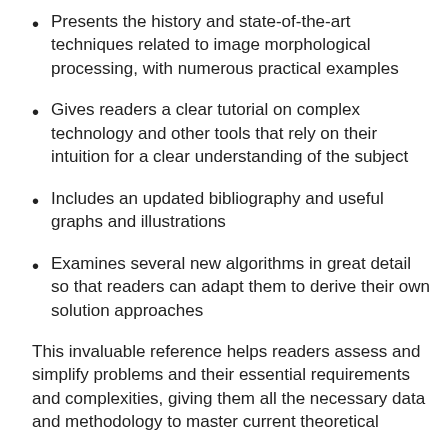Presents the history and state-of-the-art techniques related to image morphological processing, with numerous practical examples
Gives readers a clear tutorial on complex technology and other tools that rely on their intuition for a clear understanding of the subject
Includes an updated bibliography and useful graphs and illustrations
Examines several new algorithms in great detail so that readers can adapt them to derive their own solution approaches
This invaluable reference helps readers assess and simplify problems and their essential requirements and complexities, giving them all the necessary data and methodology to master current theoretical